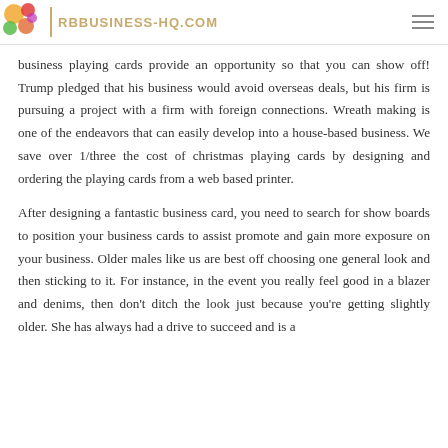RBBUSINESS-HQ.COM
business playing cards provide an opportunity so that you can show off! Trump pledged that his business would avoid overseas deals, but his firm is pursuing a project with a firm with foreign connections. Wreath making is one of the endeavors that can easily develop into a house-based business. We save over 1/three the cost of christmas playing cards by designing and ordering the playing cards from a web based printer.
After designing a fantastic business card, you need to search for show boards to position your business cards to assist promote and gain more exposure on your business. Older males like us are best off choosing one general look and then sticking to it. For instance, in the event you really feel good in a blazer and denims, then don't ditch the look just because you're getting slightly older. She has always had a drive to succeed and is a